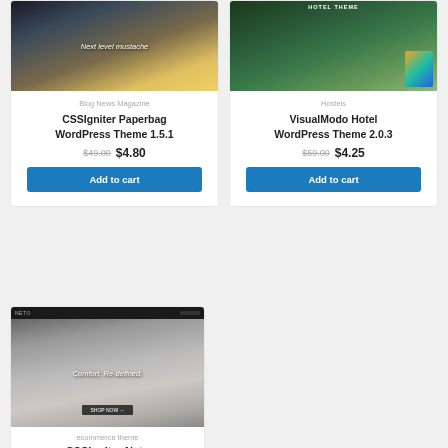[Figure (screenshot): Product card: CSSIgniter Paperbag WordPress Theme 1.5.1 with image of woman in sunlight]
Blog News Magazine
CSSIgniter Paperbag WordPress Theme 1.5.1
$49.00 $4.80
Add to cart
[Figure (screenshot): Product card: VisualModo Hotel WordPress Theme 2.0.3 with hotel theme screenshot]
Hostels
VisualModo Hotel WordPress Theme 2.0.3
$59.00 $4.25
Add to cart
[Figure (screenshot): Product card: CSSIgniter Neto ecommerce theme with Nike shoe image]
ecommerce theme
CSSIgniter Neto